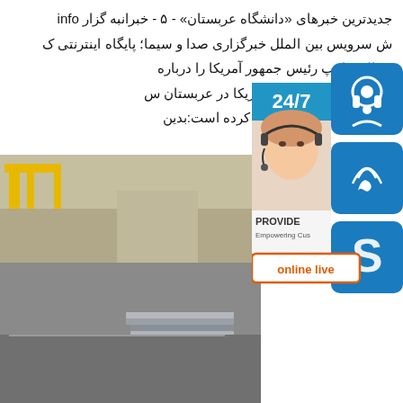جدیدترین خبرهای «دانشگاه عربستان» - ۵ - خبرانبه گزار info
ش سرویس بین الملل خبرگزاری صدا و سیما؛ پایگاه اینترنتی ک
دونالد ترامپ رئیس جمهور آمریکا را درباره
د به عنوان سفیر جدید آمریکا در عربستان س
عودی به شرح زیر منتشر کرده است:بدین
[Figure (photo): Steel plates stacked in an industrial warehouse with yellow crane structures in the background]
[Figure (infographic): Customer service sidebar with 24/7 badge, headset agent photo, phone icon, Skype icon, PROVIDE text, and online live button]